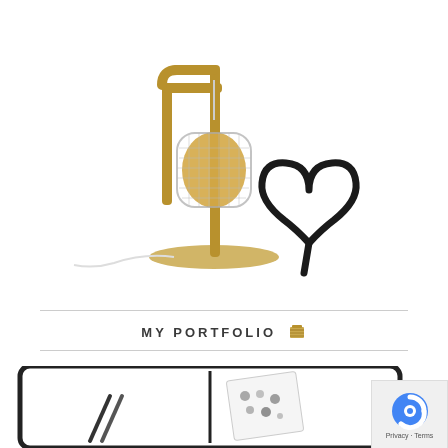[Figure (photo): A modern table lamp with a gold/brass metal frame and a geometric mesh glass shade, with a decorative black heart shape beside it, shown on a white background.]
MY PORTFOLIO 🗂
[Figure (photo): Bottom portion showing a portfolio preview with two panels side by side in a dark frame, one showing pencils and the other showing stickers/illustrations. A reCAPTCHA Privacy-Terms badge appears in the bottom right corner.]